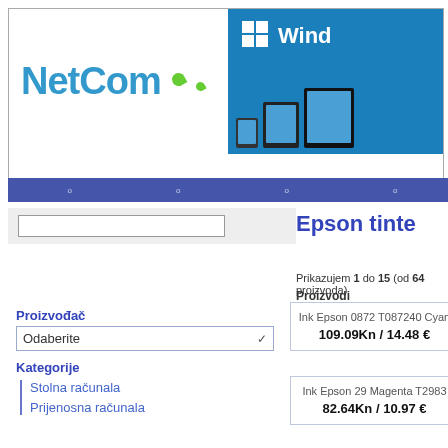[Figure (screenshot): NetCom logo on white background with green leaf icon, and Windows promotional banner on blue background showing Windows icon and text plus devices]
[Figure (screenshot): Dark blue navigation bar with small navigation items]
[Figure (screenshot): Search input box on light gray background]
Epson tinte
Prikazujem 1 do 15 (od 64 proizvoda)
Proizvodi
Proizvođač
[Figure (screenshot): Dropdown select box labeled Odaberite with chevron]
Kategorije
Stolna računala
Prijenosna računala
Ink Epson 0872 T087240 Cyan
109.09Kn / 14.48 €
Ink Epson 29 Magenta T2983
82.64Kn / 10.97 €